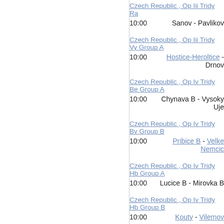Czech Republic , Op Iii Tridy Ra
10:00   Sanov - Pavlikov
Czech Republic , Op Iii Tridy Vy Group A
10:00   Hostice-Heroltice - Drnov
Czech Republic , Op Iv Tridy Be Group A
10:00   Chynava B - Vysoky Uje
Czech Republic , Op Iv Tridy Bv Group B
10:00   Pribice B - Velke Nemcic
Czech Republic , Op Iv Tridy Hb Group A
10:00   Lucice B - Mirovka B
Czech Republic , Op Iv Tridy Hb Group B
10:00   Kouty - Vilemov
Czech Republic , Op Iv Tridy Ra
10:00   Kounov - Hredle B